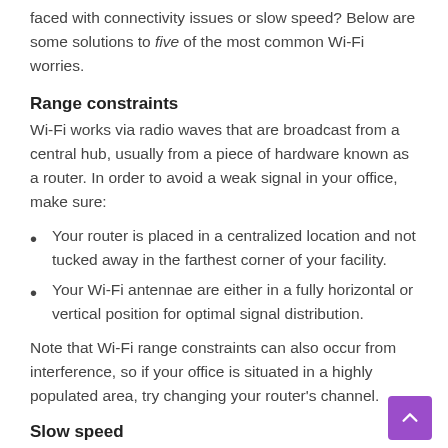faced with connectivity issues or slow speed? Below are some solutions to five of the most common Wi-Fi worries.
Range constraints
Wi-Fi works via radio waves that are broadcast from a central hub, usually from a piece of hardware known as a router. In order to avoid a weak signal in your office, make sure:
Your router is placed in a centralized location and not tucked away in the farthest corner of your facility.
Your Wi-Fi antennae are either in a fully horizontal or vertical position for optimal signal distribution.
Note that Wi-Fi range constraints can also occur from interference, so if your office is situated in a highly populated area, try changing your router's channel.
Slow speed
Despite having high-speed or fiber optic internet, slow load times can still occur for a number of reasons. To